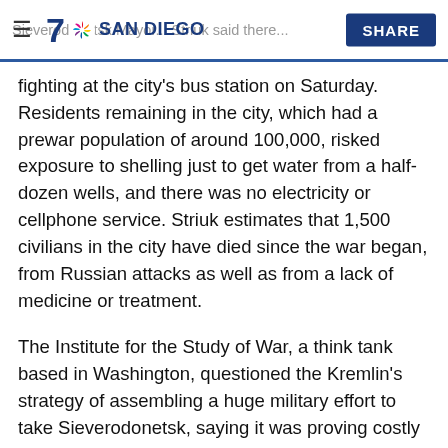≡ Sieverodonetsk Mayor... Striuk said there... | 7 NBC SAN DIEGO | SHARE
fighting at the city's bus station on Saturday. Residents remaining in the city, which had a prewar population of around 100,000, risked exposure to shelling just to get water from a half-dozen wells, and there was no electricity or cellphone service. Striuk estimates that 1,500 civilians in the city have died since the war began, from Russian attacks as well as from a lack of medicine or treatment.
The Institute for the Study of War, a think tank based in Washington, questioned the Kremlin's strategy of assembling a huge military effort to take Sieverodonetsk, saying it was proving costly for Russia and would bring few returns.
“When the battle of Sieverodonetsk ends, regardless of which side holds the city, the Russian offensive at the